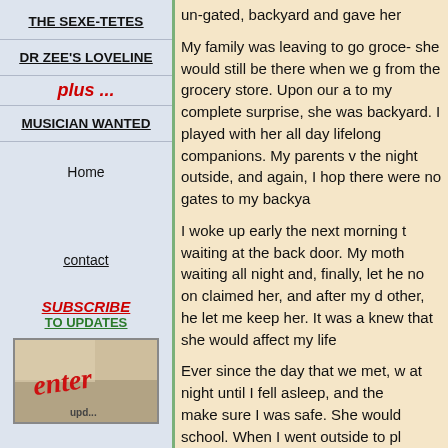THE SEXE-TETES
DR ZEE'S LOVELINE
plus ...
MUSICIAN WANTED
Home
contact
SUBSCRIBE TO UPDATES
[Figure (photo): Image showing the word 'enter' in red cursive text over a photo background, used as a subscribe button]
un-gated, backyard and gave her
My family was leaving to go groce- she would still be there when we g from the grocery store. Upon our a to my complete surprise, she was backyard. I played with her all day lifelong companions. My parents v the night outside, and again, I hop there were no gates to my backya
I woke up early the next morning t waiting at the back door. My moth waiting all night and, finally, let he no on claimed her, and after my d other, he let me keep her. It was a knew that she would affect my life
Ever since the day that we met, w at night until I fell asleep, and the make sure I was safe. She would school. When I went outside to pl touching me, she would nip at the
When the family would leave, she